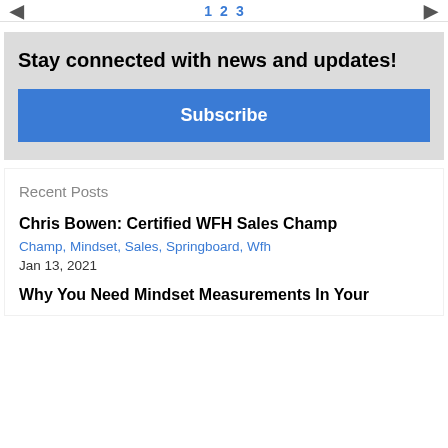◄  1  2  3  ►
Stay connected with news and updates!
Subscribe
Recent Posts
Chris Bowen: Certified WFH Sales Champ
Champ, Mindset, Sales, Springboard, Wfh
Jan 13, 2021
Why You Need Mindset Measurements In Your